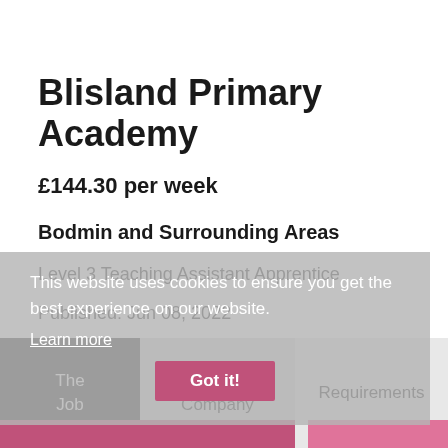Blisland Primary Academy
£144.30 per week
Bodmin and Surrounding Areas
Level 3 Teaching Assistant Apprentice
Published: Jun 08, 2022
Ref: GL080622
This website uses cookies to ensure you get the best experience on our website.
Learn more
Got it!